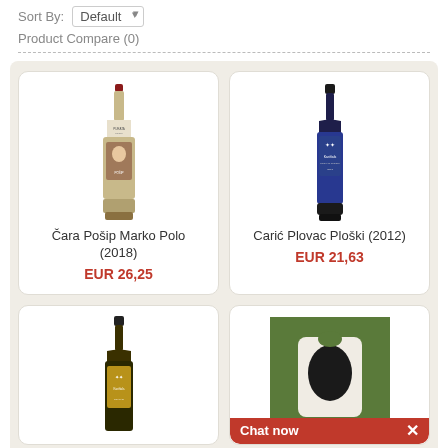Sort By: Default
Product Compare (0)
[Figure (screenshot): Wine product listing grid with 4 product cards showing wine bottles. Top-left: Čara Pošip Marko Polo (2018) EUR 26,25. Top-right: Carić Plovac Ploški (2012) EUR 21,63. Bottom-left: wine bottle (partially visible). Bottom-right: wine in carrier with Chat now bar.]
Čara Pošip Marko Polo (2018)
EUR 26,25
Carić Plovac Ploški (2012)
EUR 21,63
Chat now